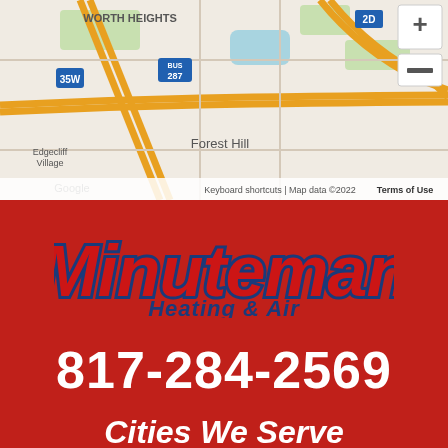[Figure (map): Google Maps screenshot showing Worth Heights, Forest Hill, Edgecliff Village area near Fort Worth, TX with roads and map controls. Shows highway markers for 35W, 287 BUS, and route 2D. Map data copyright 2022.]
[Figure (logo): Minuteman Heating & Air logo. 'Minuteman' in large red bold italic text with dark blue outline, 'Heating & Air' in dark blue italic text below.]
817-284-2569
Cities We Serve
ARLINGTON   EULESS